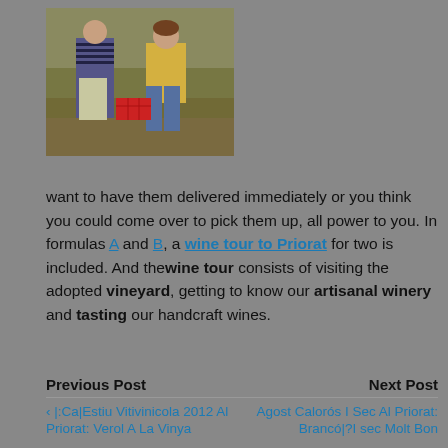[Figure (photo): Two people standing in a field. A man in a striped shirt on the left and a woman in a yellow shirt on the right. There is a red crate between them.]
want to have them delivered immediately or you think you could come over to pick them up, all power to you. In formulas A and B, a wine tour to Priorat for two is included. And the wine tour consists of visiting the adopted vineyard, getting to know our artisanal winery and tasting our handcraft wines.
Previous Post | Next Post | < |:Ca|Estiu Vitivinicola 2012 Al Priorat: Verol A La Vinya | Agost Calorós I Sec Al Priorat: Brancó|? I sec Molt Bon...